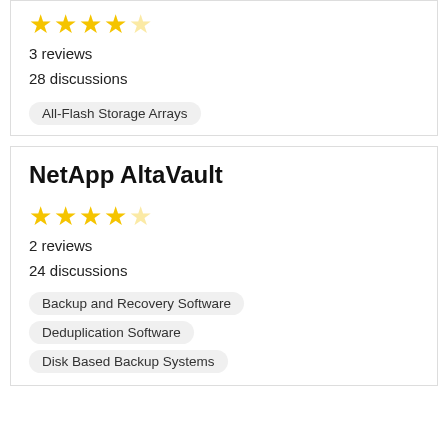3 reviews
28 discussions
All-Flash Storage Arrays
NetApp AltaVault
2 reviews
24 discussions
Backup and Recovery Software
Deduplication Software
Disk Based Backup Systems